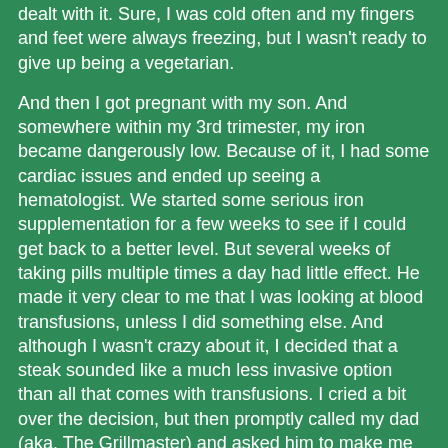dealt with it. Sure, I was cold often and my fingers and feet were always freezing, but I wasn't ready to give up being a vegetarian.
And then I got pregnant with my son. And somewhere within my 3rd trimester, my iron became dangerously low. Because of it, I had some cardiac issues and ended up seeing a hematologist. We started some serious iron supplementation for a few weeks to see if I could get back to a better level. But several weeks of taking pills multiple times a day had little effect. He made it very clear to me that I was looking at blood transfusions, unless I did something else. And although I wasn't crazy about it, I decided that a steak sounded like a much less invasive option than all that comes with transfusions. I cried a bit over the decision, but then promptly called my dad (aka. The Grillmaster) and asked him to make me my first steak.
Now this is where I should say as a former vegetarian that it was horrible and I choked it down. But I didn't. It was actually on the tasty side. And after a few weeks of adding grassfed meat into my diet, I felt better and my lab levels were much better. I would love to say my diet corrected it in a snap, but I had...